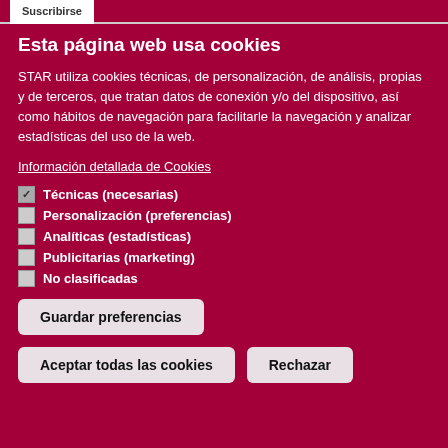Suscribirse
Esta página web usa cookies
STAR utiliza cookies técnicas, de personalización, de análisis, propias y de terceros, que tratan datos de conexión y/o del dispositivo, así como hábitos de navegación para facilitarle la navegación y analizar estadísticas del uso de la web.
Información detallada de Cookies
Técnicas (necesarias)
Personalización (preferencias)
Analíticas (estadísticas)
Publicitarias (marketing)
No clasificadas
Guardar preferencias
Aceptar todas las cookies
Rechazar